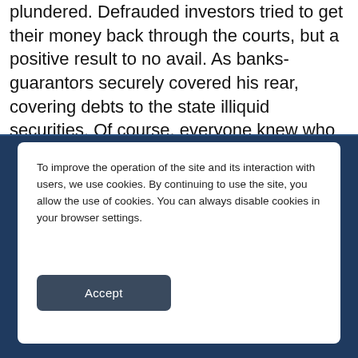plundered. Defrauded investors tried to get their money back through the courts, but a positive result to no avail. As banks-guarantors securely covered his rear, covering debts to the state illiquid securities. Of course, everyone knew who was behind all these scams, but the lack of evidence allowed them to escape justice with impunity.
To improve the operation of the site and its interaction with users, we use cookies. By continuing to use the site, you allow the use of cookies. You can always disable cookies in your browser settings.